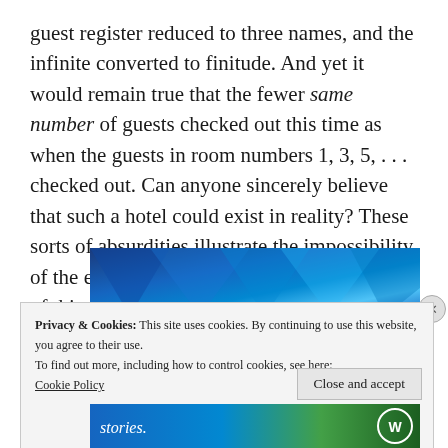guest register reduced to three names, and the infinite converted to finitude. And yet it would remain true that the fewer same number of guests checked out this time as when the guests in room numbers 1, 3, 5, . . . checked out. Can anyone sincerely believe that such a hotel could exist in reality? These sorts of absurdities illustrate the impossibility of the existence of an actually infinite number of things.
[Figure (illustration): Partial view of a decorative banner image with blue gradient triangular shapes, partially obscured by a cookie consent popup.]
Privacy & Cookies: This site uses cookies. By continuing to use this website, you agree to their use.
To find out more, including how to control cookies, see here:
Cookie Policy
Close and accept
[Figure (illustration): Bottom portion of a banner showing the word 'stories.' in white italic text on a blue-green gradient background, with a circular WordPress logo on the right.]